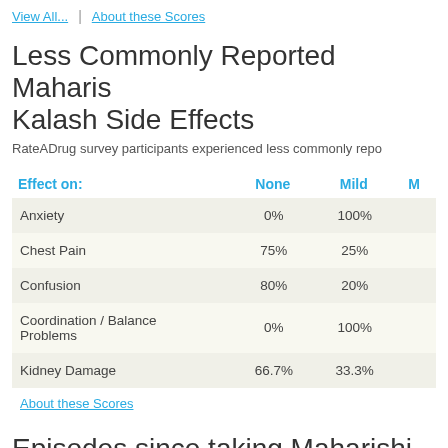View All... | About these Scores
Less Commonly Reported Maharishi Amrit Kalash Side Effects
RateADrug survey participants experienced less commonly reported side effects...
| Effect on: | None | Mild | M... |
| --- | --- | --- | --- |
| Anxiety | 0% | 100% |  |
| Chest Pain | 75% | 25% |  |
| Confusion | 80% | 20% |  |
| Coordination / Balance Problems | 0% | 100% |  |
| Kidney Damage | 66.7% | 33.3% |  |
About these Scores
Episodes since taking Maharishi Amrit Kalash
Since taking Maharishi Ayurveda Amrit Kalash Rate a Drug sur...